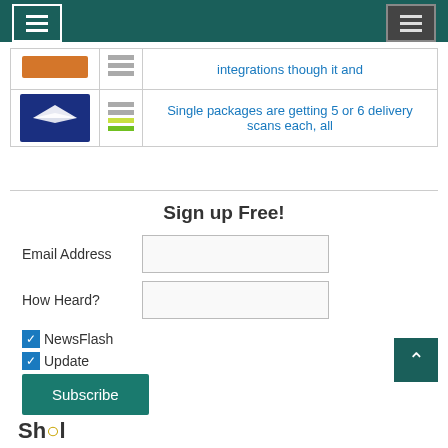[Figure (screenshot): Dark teal navigation header bar with hamburger menu icons on left and right]
| Carrier | Status | Description |
| --- | --- | --- |
| [orange carrier logo] | [signal bars] | integrations though it and |
| [USPS logo] | [signal bars green] | Single packages are getting 5 or 6 delivery scans each, all |
Sign up Free!
Email Address
How Heard?
NewsFlash
Update
Subscribe
[Figure (illustration): Back to top chevron button, dark teal background]
[Figure (logo): Footer brand logo]